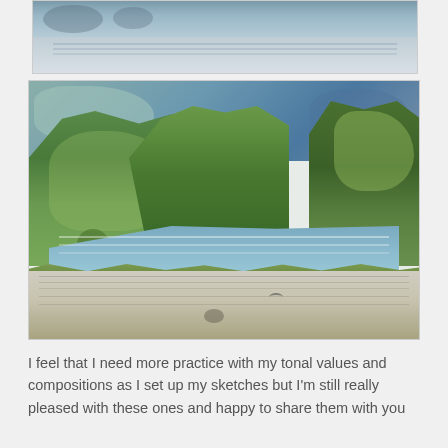[Figure (illustration): Watercolor painting of a stormy water scene with dark sky and choppy water reflections, cropped showing top portion only]
[Figure (illustration): Watercolor painting of a river or lake landscape with lush green trees on both banks, blue sky, and a sandy/pebbly foreground shore with birds]
I feel that I need more practice with my tonal values and compositions as I set up my sketches but I'm still really pleased with these ones and happy to share them with you